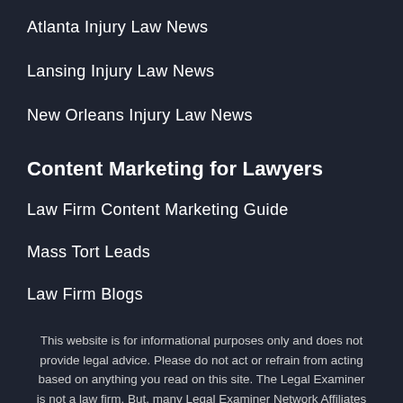Atlanta Injury Law News
Lansing Injury Law News
New Orleans Injury Law News
Content Marketing for Lawyers
Law Firm Content Marketing Guide
Mass Tort Leads
Law Firm Blogs
This website is for informational purposes only and does not provide legal advice. Please do not act or refrain from acting based on anything you read on this site. The Legal Examiner is not a law firm. But, many Legal Examiner Network Affiliates are. Using this site or communicating with our law firm affiliates through this site does not form an attorney/client relationship. The portions of The Legal